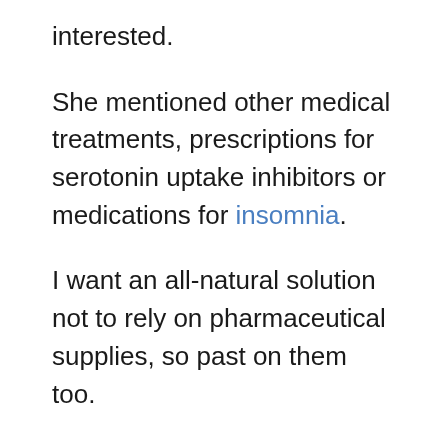interested.
She mentioned other medical treatments, prescriptions for serotonin uptake inhibitors or medications for insomnia.
I want an all-natural solution not to rely on pharmaceutical supplies, so past on them too.
Over a period of the years, I tried just about everything.
You name it I've tried it.